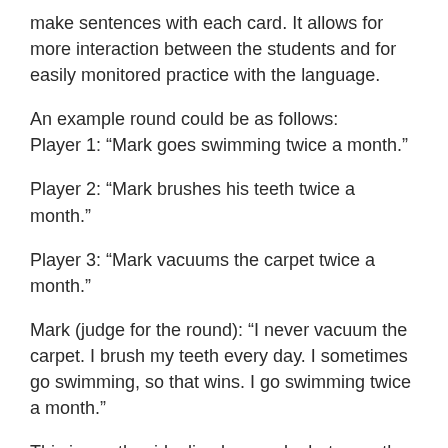make sentences with each card. It allows for more interaction between the students and for easily monitored practice with the language.
An example round could be as follows:
Player 1: “Mark goes swimming twice a month.”
Player 2: “Mark brushes his teeth twice a month.”
Player 3: “Mark vacuums the carpet twice a month.”
Mark (judge for the round): “I never vacuum the carpet. I brush my teeth every day. I sometimes go swimming, so that wins. I go swimming twice a month.”
This is a rather idealized example, but once the students are familiar with the game and you’ve drilled the sentence structures with them it’s